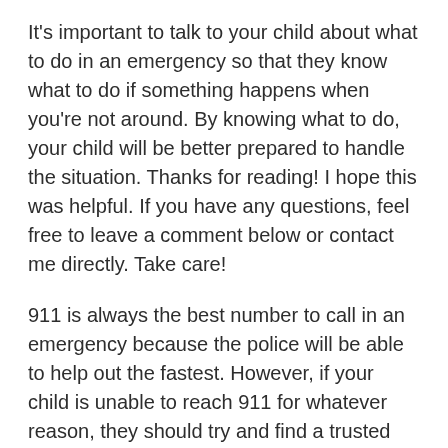It's important to talk to your child about what to do in an emergency so that they know what to do if something happens when you're not around. By knowing what to do, your child will be better prepared to handle the situation. Thanks for reading! I hope this was helpful. If you have any questions, feel free to leave a comment below or contact me directly. Take care!
911 is always the best number to call in an emergency because the police will be able to help out the fastest. However, if your child is unable to reach 911 for whatever reason, they should try and find a trusted adult who can help them out.
FAQs